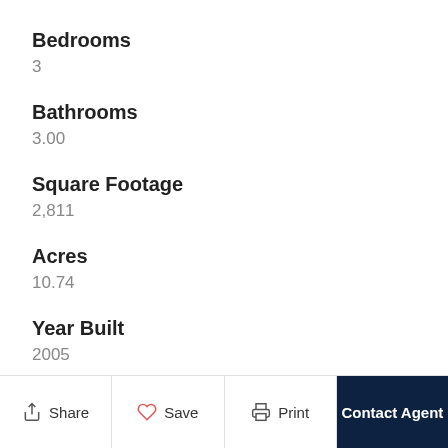Bedrooms
3
Bathrooms
3.00
Square Footage
2,811
Acres
10.74
Year Built
2005
Type
Condominium
Share  Save  Print  Contact Agent